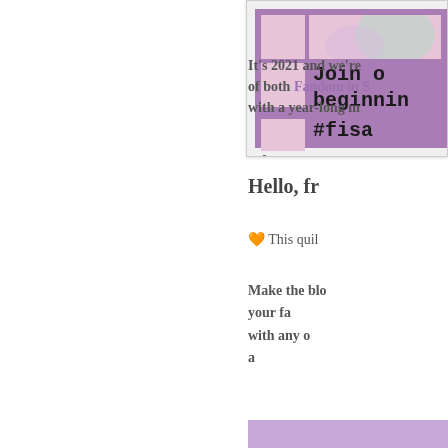[Figure (illustration): Banner image with purple background, grid of colored squares, text 'Join o / beginnin / #fisa / free patterns']
Hello, fr
It's 2021 and we're... of both Fandom in S... with a year-long m...
🧵 This quil...
Make the blo... your fa... with any o... a...